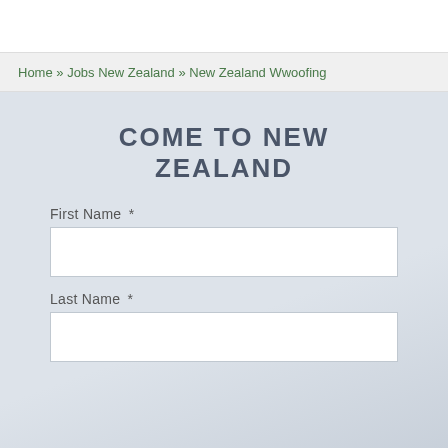Home » Jobs New Zealand » New Zealand Wwoofing
COME TO NEW ZEALAND
First Name *
Last Name *